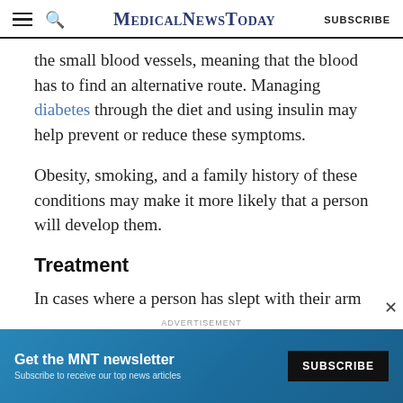MedicalNewsToday SUBSCRIBE
the small blood vessels, meaning that the blood has to find an alternative route. Managing diabetes through the diet and using insulin may help prevent or reduce these symptoms.
Obesity, smoking, and a family history of these conditions may make it more likely that a person will develop them.
Treatment
In cases where a person has slept with their arm underneath their body, the symptoms are temporary
[Figure (other): Advertisement banner: Get the MNT newsletter. Subscribe to receive our top news articles. SUBSCRIBE button.]